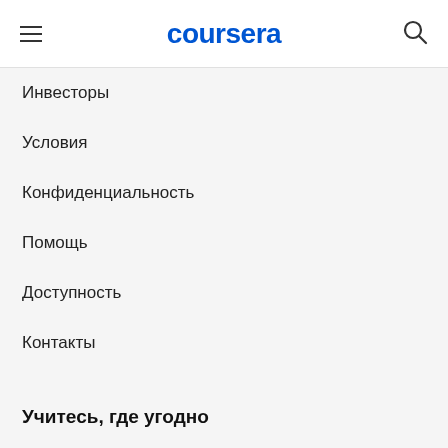coursera
Инвесторы
Условия
Конфиденциальность
Помощь
Доступность
Контакты
Статьи
Справочник
Филиалы
Заявление о современном рабстве
Учитесь, где угодно